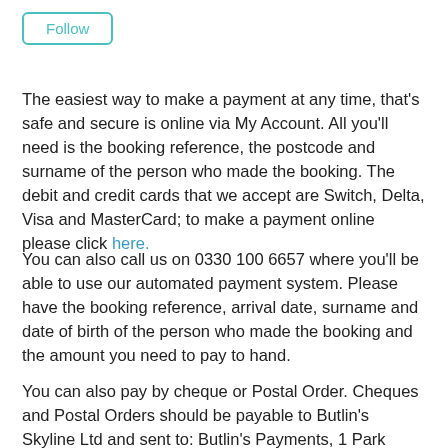Follow
The easiest way to make a payment at any time, that's safe and secure is online via My Account. All you'll need is the booking reference, the postcode and surname of the person who made the booking. The debit and credit cards that we accept are Switch, Delta, Visa and MasterCard; to make a payment online please click here.
You can also call us on 0330 100 6657 where you'll be able to use our automated payment system. Please have the booking reference, arrival date, surname and date of birth of the person who made the booking and the amount you need to pay to hand.
You can also pay by cheque or Postal Order. Cheques and Postal Orders should be payable to Butlin's Skyline Ltd and sent to: Butlin's Payments, 1 Park Lane, Hemel Hempstead, Hertfordshire, HP2 4YL. Please note that cheques are not